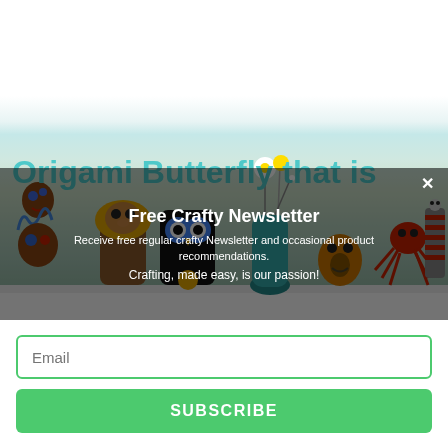[Figure (photo): Colorful crafty toy figures (owls, raccoons, animals made from toilet paper rolls and clay) arranged on a shelf with flowers in a jar, on a white background.]
Origami Butterfly that is
Free Crafty Newsletter
Receive free regular crafty Newsletter and occasional product recommendations.
Crafting, made easy, is our passion!